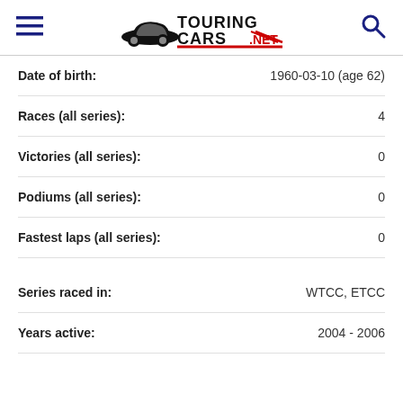TouringCars.net
| Field | Value |
| --- | --- |
| Date of birth: | 1960-03-10 (age 62) |
| Races (all series): | 4 |
| Victories (all series): | 0 |
| Podiums (all series): | 0 |
| Fastest laps (all series): | 0 |
| Series raced in: | WTCC, ETCC |
| Years active: | 2004 - 2006 |